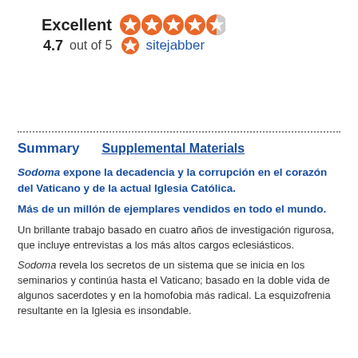[Figure (other): Sitejabber rating widget showing 'Excellent' with 4.5 orange stars and '4.7 out of 5' with sitejabber logo]
Summary    Supplemental Materials
Sodoma expone la decadencia y la corrupción en el corazón del Vaticano y de la actual Iglesia Católica.
Más de un millón de ejemplares vendidos en todo el mundo.
Un brillante trabajo basado en cuatro años de investigación rigurosa, que incluye entrevistas a los más altos cargos eclesiásticos.
Sodoma revela los secretos de un sistema que se inicia en los seminarios y continúa hasta el Vaticano; basado en la doble vida de algunos sacerdotes y en la homofobia más radical. La esquizofrenia resultante en la Iglesia es insondable.